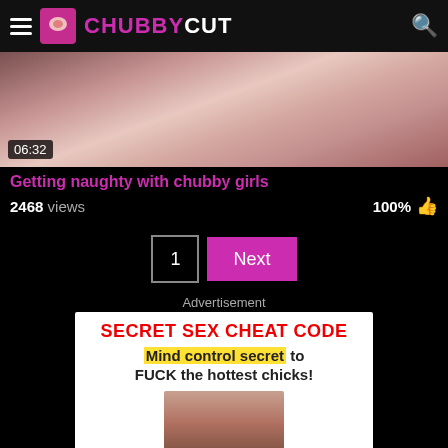CHUBBYCUT
[Figure (photo): Close-up video thumbnail with duration overlay 06:32]
Getting naughty with chubby girls
2468 views  100%
1  Next
Advertisement
[Figure (infographic): Advertisement banner: SECRET SEX CHEAT CODE - Mind control secret to FUCK the hottest chicks! with woman photo]